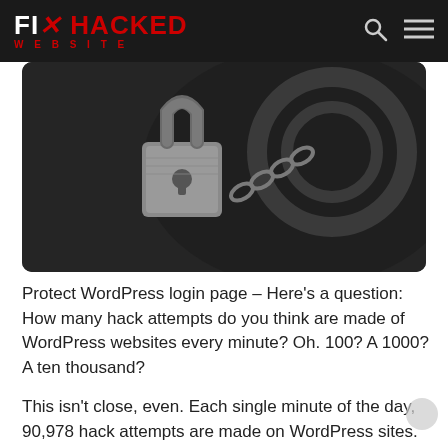FIX HACKED WEBSITE
[Figure (photo): Close-up photograph of a metallic padlock with chain/wheel mechanism in dark moody lighting]
Protect WordPress login page – Here's a question: How many hack attempts do you think are made of WordPress websites every minute? Oh. 100? A 1000? A ten thousand?
This isn't close, even. Each single minute of the day, 90,978 hack attempts are made on WordPress sites. Hackers use different methods to break into a site, and login pages for WordPress are often targeted. Hackers programme bots to attack WordPress website login pages and attempt to gain access to the dashboard. This type of attack is referred to as brute force attacks, where the bot repeatedly attempts different username and password combinations on the login page until it